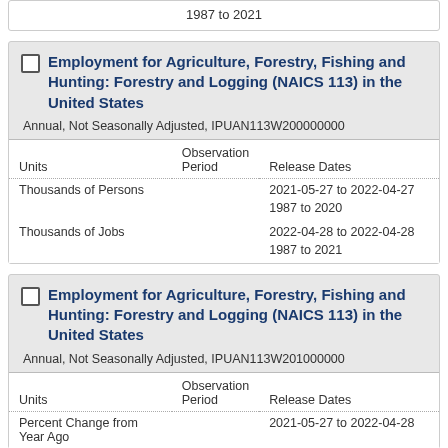1987 to 2021
Employment for Agriculture, Forestry, Fishing and Hunting: Forestry and Logging (NAICS 113) in the United States
Annual, Not Seasonally Adjusted, IPUAN113W200000000
| Units | Observation Period | Release Dates |
| --- | --- | --- |
| Thousands of Persons |  | 2021-05-27 to 2022-04-27 |
|  |  | 1987 to 2020 |
| Thousands of Jobs |  | 2022-04-28 to 2022-04-28 |
|  |  | 1987 to 2021 |
Employment for Agriculture, Forestry, Fishing and Hunting: Forestry and Logging (NAICS 113) in the United States
Annual, Not Seasonally Adjusted, IPUAN113W201000000
| Units | Observation Period | Release Dates |
| --- | --- | --- |
| Percent Change from Year Ago |  | 2021-05-27 to 2022-04-28 |